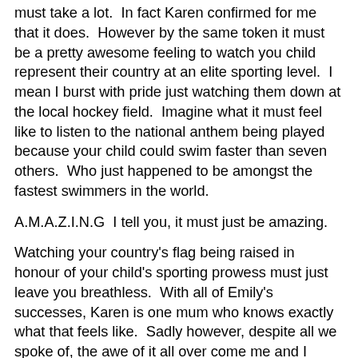must take a lot.  In fact Karen confirmed for me that it does.  However by the same token it must be a pretty awesome feeling to watch you child represent their country at an elite sporting level.  I mean I burst with pride just watching them down at the local hockey field.  Imagine what it must feel like to listen to the national anthem being played because your child could swim faster than seven others.  Who just happened to be amongst the fastest swimmers in the world.
A.M.A.Z.I.N.G  I tell you, it must just be amazing.
Watching your country's flag being raised in honour of your child's sporting prowess must just leave you breathless.  With all of Emily's successes, Karen is one mum who knows exactly what that feels like.  Sadly however, despite all we spoke of, the awe of it all over come me and I neglected to ask her what it really is like, watching a stadium full of people cheer and applaud as a gold medal is draped around your child's neck.  Since she has been there and done that and all.  And will hopefully be doing it all again over in London in just a few short weeks.
One thing I did think to ask Karen about though was the